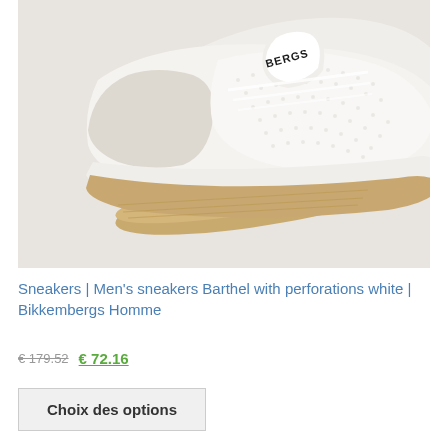[Figure (photo): White Bikkembergs sneaker with perforations, shown from above at an angle on a light beige/grey background. The shoe has a white mesh upper, white/cream suede toe cap, gum-colored rubber sole, and dark BERGS text visible on the side tongue.]
Sneakers | Men's sneakers Barthel with perforations white | Bikkembergs Homme
€ 179.52   € 72.16
Choix des options